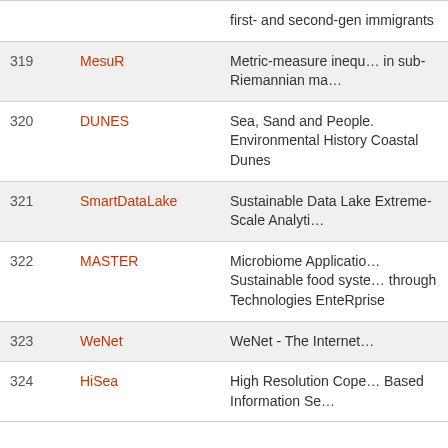| # | Acronym | Description |
| --- | --- | --- |
|  |  | first- and second-gen immigrants |
| 319 | MesuR | Metric-measure inequ… in sub-Riemannian ma… |
| 320 | DUNES | Sea, Sand and People. Environmental History Coastal Dunes |
| 321 | SmartDataLake | Sustainable Data Lake Extreme-Scale Analyti… |
| 322 | MASTER | Microbiome Applicatio… Sustainable food syste… through Technologies EnteRprise |
| 323 | WeNet | WeNet - The Internet… |
| 324 | HiSea | High Resolution Cope… Based Information Se… |